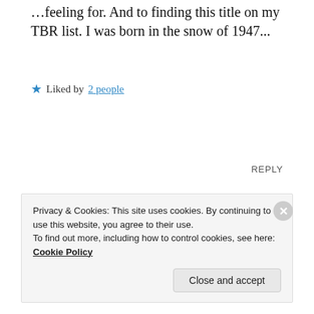...feeling for. And to finding this title on my TBR list. I was born in the snow of 1947...
Liked by 2 people
REPLY
Ellen Hawley
OCTOBER 16, 2020 AT 5:12 PM
Privacy & Cookies: This site uses cookies. By continuing to use this website, you agree to their use.
To find out more, including how to control cookies, see here:
Cookie Policy
Close and accept